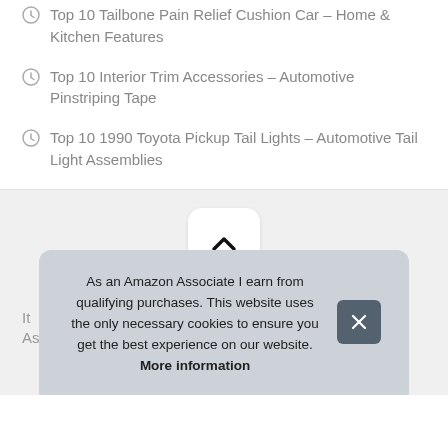Top 10 Tailbone Pain Relief Cushion Car – Home & Kitchen Features
Top 10 Interior Trim Accessories – Automotive Pinstriping Tape
Top 10 1990 Toyota Pickup Tail Lights – Automotive Tail Light Assemblies
[Figure (screenshot): Scroll-to-top button (chevron up arrow) on gray background]
It
Ass
As an Amazon Associate I earn from qualifying purchases. This website uses the only necessary cookies to ensure you get the best experience on our website. More information